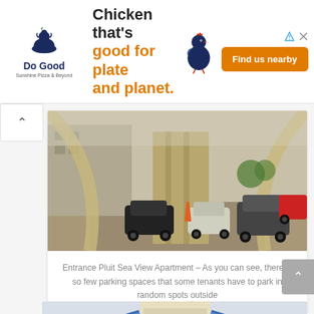[Figure (other): Do Good Chicken advertisement banner with logo, text 'Chicken that's good for plate and planet.' and 'Find us nearby' button]
[Figure (photo): Entrance of Pluit Sea View Apartment showing vehicles parked at the entrance gate with an arched canopy structure. Cars are parked in various spots indicating limited parking space.]
Entrance Pluit Sea View Apartment – As you can see, there is so few parking spaces that some tenants have to park in random spots outside
[Figure (photo): Exterior view of Pluit Sea View Apartment showing the arched blue canopy/entrance structure and a cream-colored building facade.]